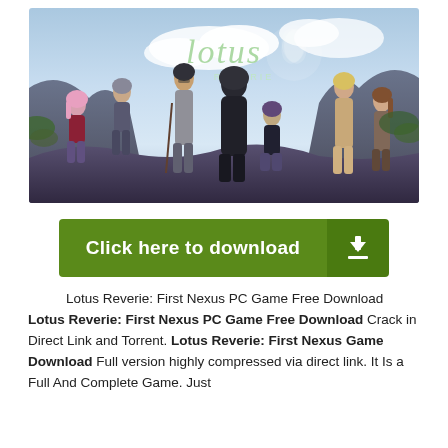[Figure (illustration): Anime-style promotional banner for 'Lotus Reverie: First Nexus' game, showing multiple characters in a rocky outdoor scene with sky background. The game title 'Lotus' appears in stylized text with a flower logo.]
[Figure (other): Green download button with 'Click here to download' text and a download arrow icon on the right side.]
Lotus Reverie: First Nexus PC Game Free Download Lotus Reverie: First Nexus PC Game Free Download Crack in Direct Link and Torrent. Lotus Reverie: First Nexus Game Download Full version highly compressed via direct link. It Is a Full And Complete Game. Just Download, Run Setup and Install. This Is a Torrent